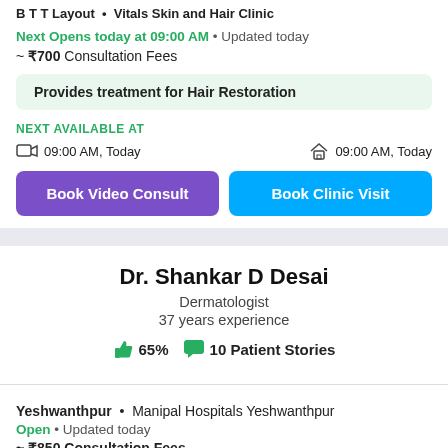B T T Layout • Vitals Skin and Hair Clinic
Next Opens today at 09:00 AM • Updated today
~ ₹700 Consultation Fees
Provides treatment for Hair Restoration
NEXT AVAILABLE AT
09:00 AM, Today  09:00 AM, Today
Book Video Consult  Book Clinic Visit
Dr. Shankar D Desai
Dermatologist
37 years experience
65%  10 Patient Stories
Yeshwanthpur • Manipal Hospitals Yeshwanthpur
Open • Updated today
~ ₹850 Consultation Fees